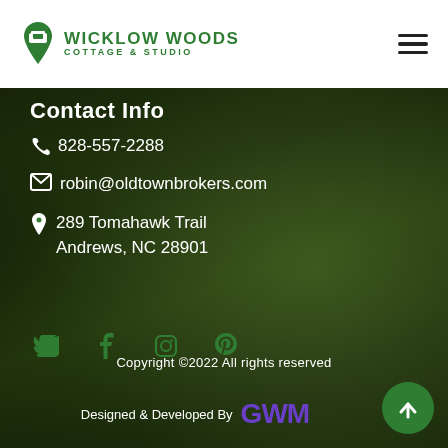[Figure (logo): Wicklow Woods Cottage & Studio logo with green map pin icon and green text]
[Figure (illustration): Hamburger menu icon (three horizontal lines)]
Contact Info
828-557-2288
robin@oldtownbrokers.com
289 Tomahawk Trail Andrews, NC 28901
[Figure (infographic): Social media icons row: Twitter, Facebook, Instagram, Pinterest in green]
Copyright ©2022 All rights reserved
Designed & Developed By GWM